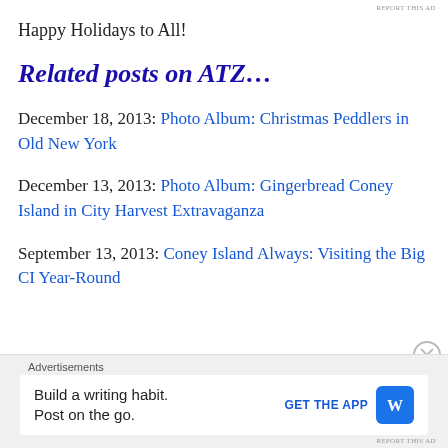REPORT THIS AD
Happy Holidays to All!
Related posts on ATZ…
December 18, 2013: Photo Album: Christmas Peddlers in Old New York
December 13, 2013: Photo Album: Gingerbread Coney Island in City Harvest Extravaganza
September 13, 2013: Coney Island Always: Visiting the Big CI Year-Round
Advertisements
Build a writing habit. Post on the go.
GET THE APP
REPORT THIS AD